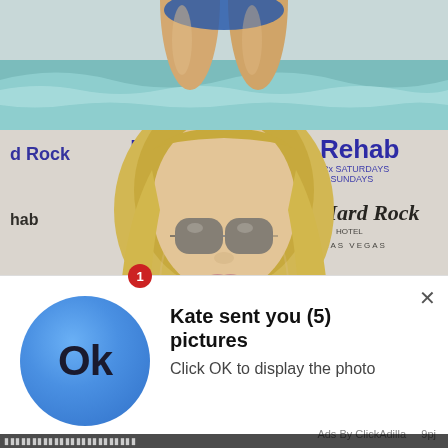[Figure (photo): Top portion showing legs and beach/ocean background with waves]
[Figure (photo): Blonde woman wearing sunglasses and pink bikini top at Hard Rock Hotel Las Vegas Rehab event, standing in front of branded backdrop showing Rehab Saturdays & Sundays and Hard Rock Hotel Las Vegas logos]
[Figure (infographic): Browser notification popup overlay showing a blue circle with 'Ok' text and message: Kate sent you (5) pictures — Click OK to display the photo. Red badge number 1, X close button, Ads By ClickAdilla 9pj footer.]
Kate sent you (5) pictures
Click OK to display the photo
Ads By ClickAdilla   9pj